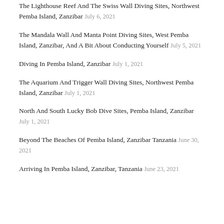The Lighthouse Reef And The Swiss Wall Diving Sites, Northwest Pemba Island, Zanzibar July 6, 2021
The Mandala Wall And Manta Point Diving Sites, West Pemba Island, Zanzibar, And A Bit About Conducting Yourself July 5, 2021
Diving In Pemba Island, Zanzibar July 1, 2021
The Aquarium And Trigger Wall Diving Sites, Northwest Pemba Island, Zanzibar July 1, 2021
North And South Lucky Bob Dive Sites, Pemba Island, Zanzibar July 1, 2021
Beyond The Beaches Of Pemba Island, Zanzibar Tanzania June 30, 2021
Arriving In Pemba Island, Zanzibar, Tanzania June 23, 2021